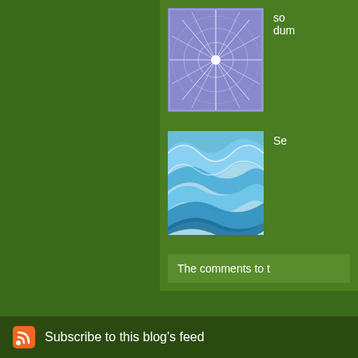[Figure (screenshot): Thumbnail image with geometric star/snowflake pattern on blue/purple background]
so
dum
[Figure (screenshot): Thumbnail image with flowing blue wave pattern]
Se
The comments to t
P
Here's To the Stric
teenager, my dad w
told you back then,
Subscribe to this blog's feed